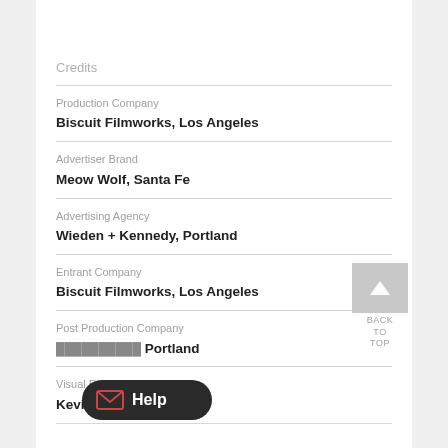Credits
Production Company
Biscuit Filmworks, Los Angeles
Advertiser Brand
Meow Wolf, Santa Fe
Advertising Agency
Wieden + Kennedy, Portland
Entrant Company
Biscuit Filmworks, Los Angeles
Post Production Company
[partially obscured], Portland
Visual Effects Company
Kevin, Los Angeles